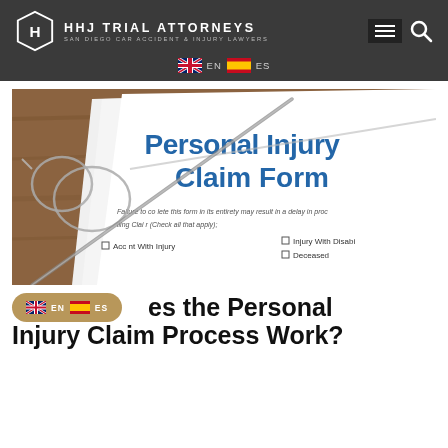HHJ TRIAL ATTORNEYS — SAN DIEGO CAR ACCIDENT & INJURY LAWYERS
[Figure (photo): A Personal Injury Claim Form on a wooden desk with eyeglasses and a pen resting on top. The form shows text including 'Personal Injury Claim Form', 'Failure to complete this form in its entirety may result in a delay in proc...', 'Filing Claim for (Check all that apply):', 'Accident With Injury', 'Injury With Disability', 'Deceased']
How Does the Personal Injury Claim Process Work?